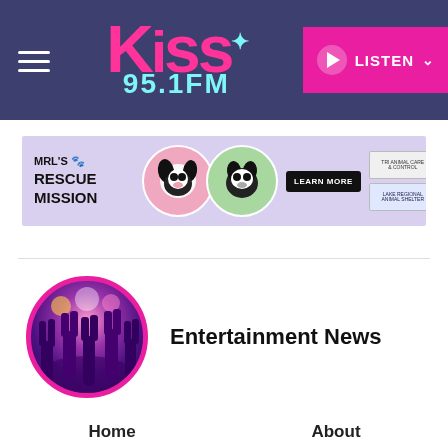Kiss 95.1 FM — LISTEN
[Figure (logo): Kiss 95.1 FM logo in pink on dark blue/purple header background, with hamburger menu icon on left and LISTEN button on right]
[Figure (infographic): MRL's Rescue Mission advertisement banner featuring two dogs (one in pink circle, one in green circle), Learn More button, and two sponsor logos on lavender background]
Entertainment News
Home
About
Articles
Galleries
Videos